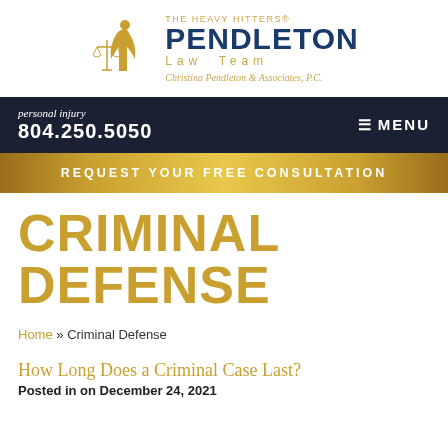[Figure (logo): The Heavy Hitters® Pendleton Law Team logo with scales of justice icon and figure, Christina Pendleton & Associates, P.C.]
personal injury
804.250.5050
≡ MENU
REQUEST YOUR FREE CONSULTATION
CRIMINAL DEFENSE
Home » Criminal Defense
How Long Does a Criminal Case Last?
Posted in on December 24, 2021